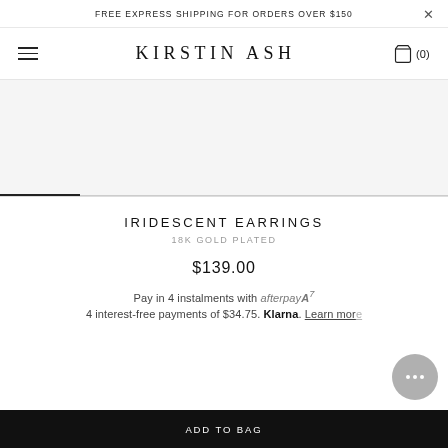FREE EXPRESS SHIPPING FOR ORDERS OVER $150
KIRSTIN ASH
[Figure (photo): Product image area showing iridescent earrings on light grey background, with scroll position indicator at bottom]
IRIDESCENT EARRINGS
18K GOLD PLATED
$139.00
Pay in 4 instalments with afterpayA7
4 interest-free payments of $34.75. Klarna. Learn more
ADD TO BAG